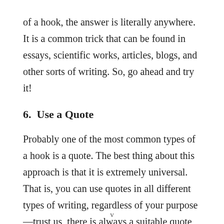of a hook, the answer is literally anywhere. It is a common trick that can be found in essays, scientific works, articles, blogs, and other sorts of writing. So, go ahead and try it!
6.  Use a Quote
Probably one of the most common types of a hook is a quote. The best thing about this approach is that it is extremely universal. That is, you can use quotes in all different types of writing, regardless of your purpose—trust us, there is always a suitable quote for whatever
v